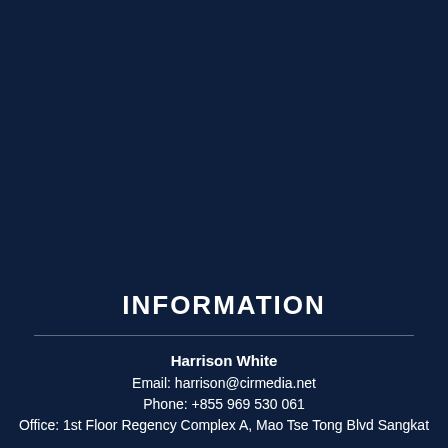INFORMATION
Harrison White
Email: harrison@cirmedia.net
Phone: +855 969 530 061
Office: 1st Floor Regency Complex A, Mao Tse Tong Blvd Sangkat